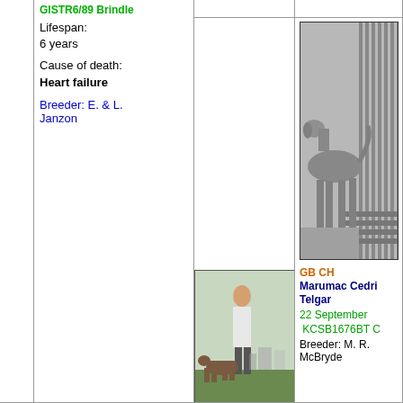GI STR6/89 Brindle
Lifespan: 6 years
Cause of death: Heart failure
Breeder: E. & L. Janzon
[Figure (photo): Black and white photo of a large dog standing sideways, appears to be an Irish Wolfhound or similar breed, in front of vertical bars/fence]
GB CH
Marumac Cedri Telgar
22 September
KCSB1676BT C
Breeder: M. R. McBryde
[Figure (photo): Color photo of a person with a dog at an outdoor dog show on grass, with other people and tents in the background]